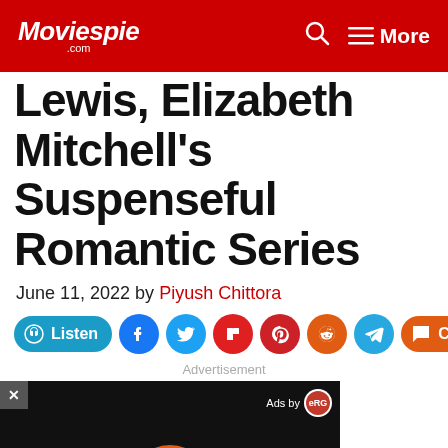Moviespie .com | More
Lewis, Elizabeth Mitchell's Suspenseful Romantic Series
June 11, 2022 by Piyush Chittora
[Figure (screenshot): Social share buttons row: Listen, Facebook, Twitter, Flipboard, Pinterest, Reddit, Telegram, Chat, Share]
Advertisement
[Figure (screenshot): Video player with black background, close button (x), Ads by eRG badge, and play button with orange circle outline]